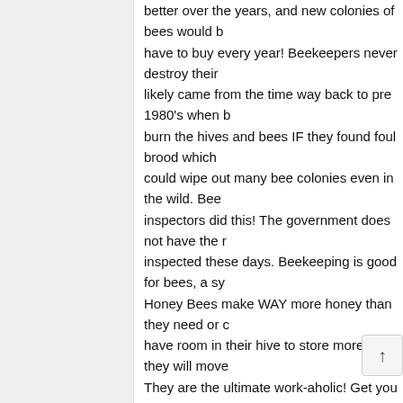better over the years, and new colonies of bees would b... have to buy every year! Beekeepers never destroy their... likely came from the time way back to pre 1980's when b... burn the hives and bees IF they found foul brood which... could wipe out many bee colonies even in the wild. Bee... inspectors did this! The government does not have the r... inspected these days. Beekeeping is good for bees, a sy... Honey Bees make WAY more honey than they need or c... have room in their hive to store more of it, they will move... They are the ultimate work-aholic! Get you honey from a... factory bee-farmer) you know and trust, it is the best for... local pollen in it. Learn their practices. The one think har... collecting bee pollen. But that was back in the 80's and b... because of how hard it is on the bees. I am not sure if th... collect the pollen today that is safe for bees. I will look in... your local honey bee keeper does what they do! You wil... have 1o hives ( have had up to 30 before) Honey b...s a... the vast majority of bee keepers greatly respect a...ak...